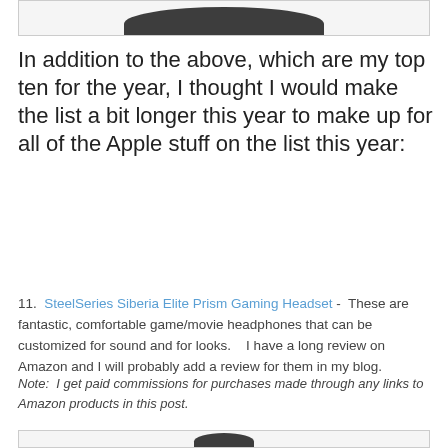[Figure (photo): Partial image showing the bottom of a dark rounded object against white background, inside a bordered box]
In addition to the above, which are my top ten for the year, I thought I would make the list a bit longer this year to make up for all of the Apple stuff on the list this year:
11.  SteelSeries Siberia Elite Prism Gaming Headset -  These are fantastic, comfortable game/movie headphones that can be customized for sound and for looks.    I have a long review on Amazon and I will probably add a review for them in my blog.
Note:  I get paid commissions for purchases made through any links to Amazon products in this post.
[Figure (photo): Partial image showing the top of a dark rounded object against white background, inside a bordered box]